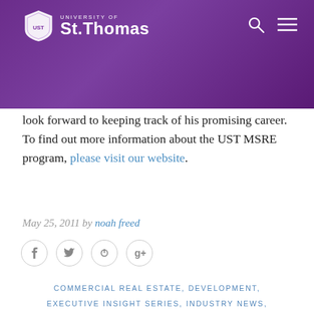University of St. Thomas — navigation header with logo, search, and menu icons
Real Estate Matters would like to thank Lane Thor for his contribution and experience in the MSRE program. We would also like to congratulate him on his graduation and look forward to keeping track of his promising career. To find out more information about the UST MSRE program, please visit our website.
May 25, 2011 by noah freed
Social sharing icons: Facebook, Twitter, Pinterest, Google+
COMMERCIAL REAL ESTATE, DEVELOPMENT, EXECUTIVE INSIGHT SERIES, INDUSTRY NEWS, REAL ESTATE TRENDS, RESIDENTIAL REAL ESTATE, RETAIL REAL ESTATE, UNCATEGORIZED